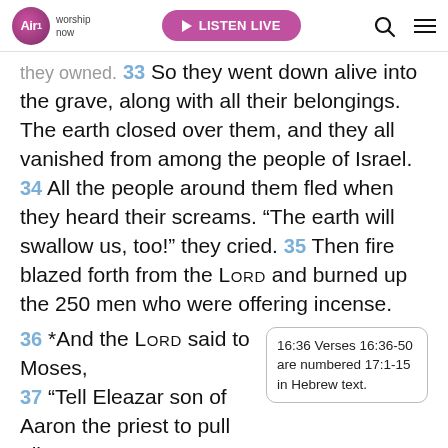Air1 worship now | LISTEN LIVE
they owned. 33 So they went down alive into the grave, along with all their belongings. The earth closed over them, and they all vanished from among the people of Israel. 34 All the people around them fled when they heard their screams. “The earth will swallow us, too!” they cried. 35 Then fire blazed forth from the LORD and burned up the 250 men who were offering incense.
36 *And the LORD said to Moses,
37 “Tell Eleazar son of Aaron the priest to pull all
16:36 Verses 16:36-50 are numbered 17:1-15 in Hebrew text.